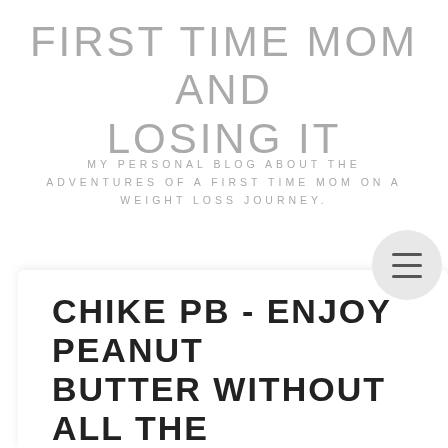FIRST TIME MOM AND LOSING IT
MY PERSONAL BLOG ABOUT THE ADVENTURES OF A FIRST TIME MOM ON A WEIGHT LOSS JOURNEY.
CHIKE PB - ENJOY PEANUT BUTTER WITHOUT ALL THE